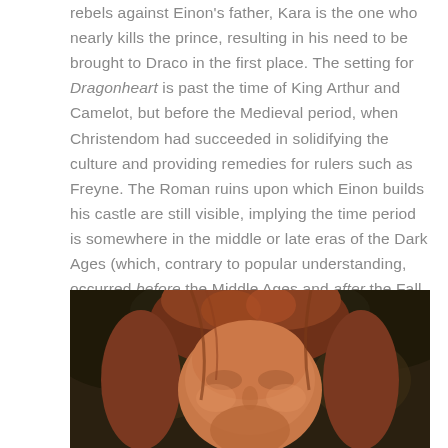rebels against Einon's father, Kara is the one who nearly kills the prince, resulting in his need to be brought to Draco in the first place. The setting for Dragonheart is past the time of King Arthur and Camelot, but before the Medieval period, when Christendom had succeeded in solidifying the culture and providing remedies for rulers such as Freyne. The Roman ruins upon which Einon builds his castle are still visible, implying the time period is somewhere in the middle or late eras of the Dark Ages (which, contrary to popular understanding, occurred before the Middle Ages and after the Fall of Rome).
[Figure (photo): Close-up photo of a woman with auburn/red hair against a dark outdoor background]